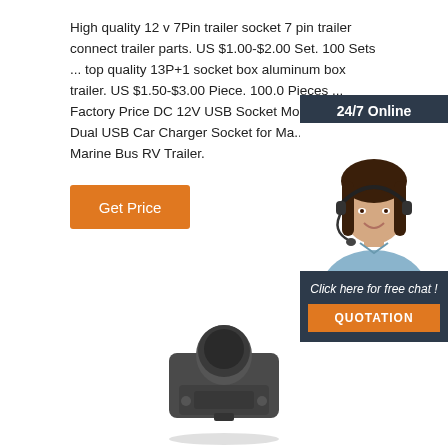High quality 12 v 7Pin trailer socket 7 pin trailer connect trailer parts. US $1.00-$2.00 Set. 100 Sets ... top quality 13P+1 socket box aluminum box trailer. US $1.50-$3.00 Piece. 100.0 Pieces ... Factory Price DC 12V USB Socket Mod... 3.1A Dual USB Car Charger Socket for Ma... Boat Marine Bus RV Trailer.
[Figure (other): Customer service chat widget with '24/7 Online' header, photo of a woman wearing a headset, 'Click here for free chat!' text, and an orange QUOTATION button]
[Figure (photo): Product photo of a dark gray trailer socket connector component]